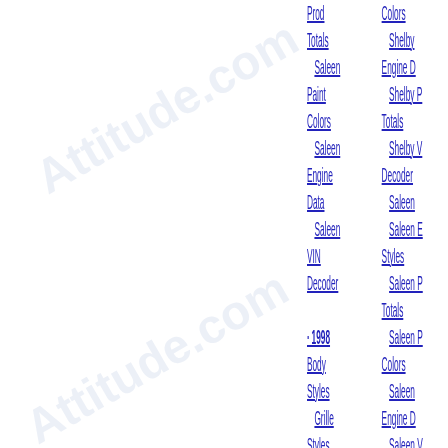Prod Totals
  Saleen
Paint Colors
  Saleen
Engine Data
  Saleen
VIN Decoder
· 1998
Body Styles
  Grille Styles
  Rear Styles
  Special Models
Sales Brochures
Paint Color
Colors
  Shelby
Engine D
  Shelby P
Totals
  Shelby V
Decoder
  Saleen
  Saleen E
Styles
  Saleen P
Totals
  Saleen P
Colors
  Saleen
Engine D
  Saleen V
Decoder